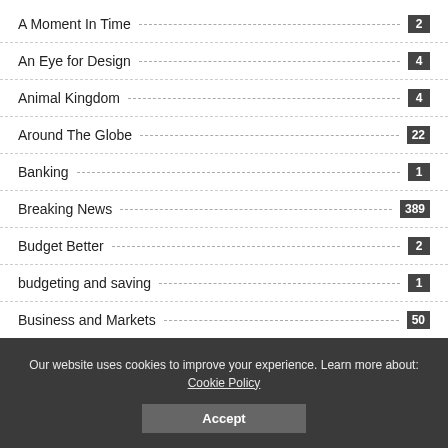A Moment In Time 2
An Eye for Design 4
Animal Kingdom 4
Around The Globe 22
Banking 1
Breaking News 389
Budget Better 2
budgeting and saving 1
Business and Markets 50
Our website uses cookies to improve your experience. Learn more about: Cookie Policy
Accept